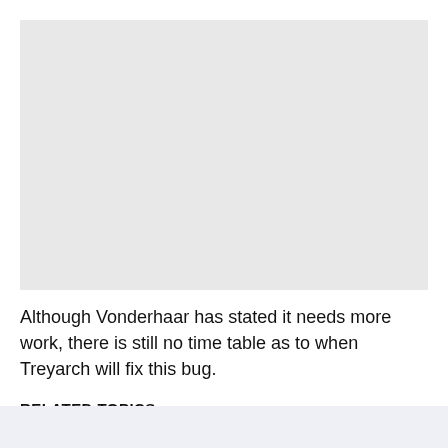[Figure (photo): Large grey placeholder image area at the top of the page]
Although Vonderhaar has stated it needs more work, there is still no time table as to when Treyarch will fix this bug.
RELATED TOPICS: